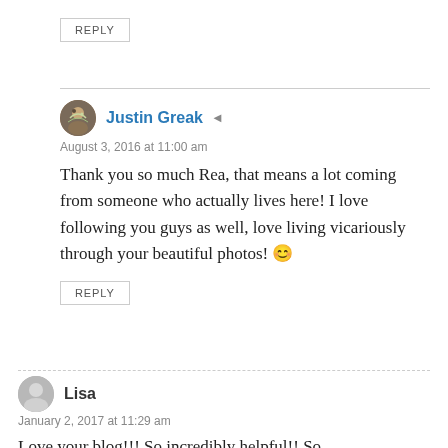REPLY
Justin Greak
August 3, 2016 at 11:00 am
Thank you so much Rea, that means a lot coming from someone who actually lives here! I love following you guys as well, love living vicariously through your beautiful photos! 😊
REPLY
Lisa
January 2, 2017 at 11:29 am
Love your blog!!! So incredibly helpful!! So